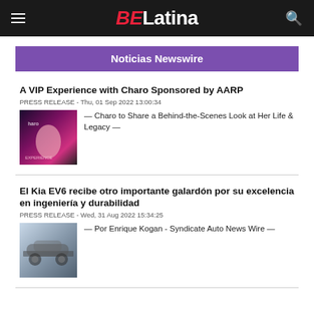BE Latina
Noticias Newswire
A VIP Experience with Charo Sponsored by AARP
PRESS RELEASE - Thu, 01 Sep 2022 13:00:34
— Charo to Share a Behind-the-Scenes Look at Her Life & Legacy —
El Kia EV6 recibe otro importante galardón por su excelencia en ingeniería y durabilidad
PRESS RELEASE - Wed, 31 Aug 2022 15:34:25
— Por Enrique Kogan - Syndicate Auto News Wire —